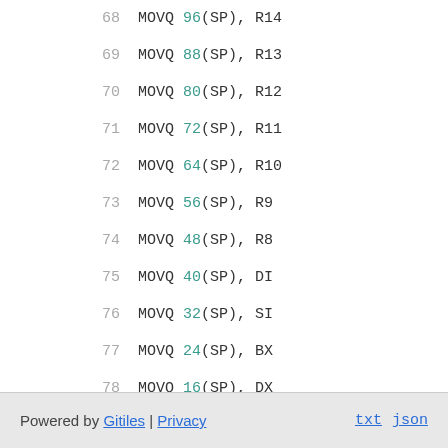68    MOVQ 96(SP), R14
69    MOVQ 88(SP), R13
70    MOVQ 80(SP), R12
71    MOVQ 72(SP), R11
72    MOVQ 64(SP), R10
73    MOVQ 56(SP), R9
74    MOVQ 48(SP), R8
75    MOVQ 40(SP), DI
76    MOVQ 32(SP), SI
77    MOVQ 24(SP), BX
78    MOVQ 16(SP), DX
79    MOVQ 8(SP), CX
80    MOVQ 0(SP), AX
81    ADJSP $-368
82    POPFQ
83    POPQ BP
84    RET
Powered by Gitiles | Privacy    txt  json